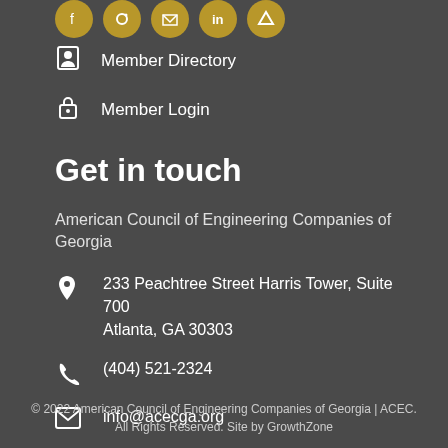[Figure (illustration): Row of five golden circular social media icons at the top of the section]
Member Directory
Member Login
Get in touch
American Council of Engineering Companies of Georgia
233 Peachtree Street Harris Tower, Suite 700
Atlanta, GA 30303
(404) 521-2324
info@acecga.org
© 2022 American Council of Engineering Companies of Georgia | ACEC. All Rights Reserved. Site by GrowthZone